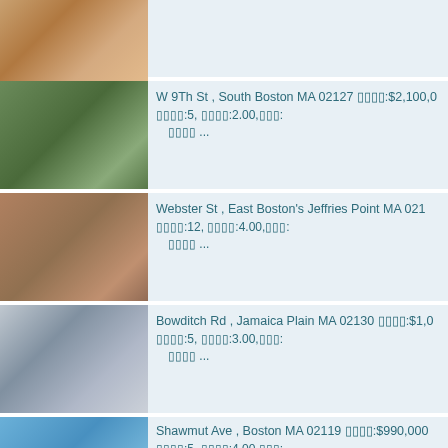[Figure (photo): Interior living room with sofa and rug (partial, top cropped)]
W 9Th St , South Boston MA 02127 □□□□:$2,100,0 □□□□:5, □□□□:2.00,□□□: □□□□ ...
[Figure (photo): Exterior garden/backyard with trees and fence]
Webster St , East Boston's Jeffries Point MA 021 □□□□:12, □□□□:4.00,□□□: □□□□ ...
[Figure (photo): Interior bedroom with wooden beams and bed]
Bowditch Rd , Jamaica Plain MA 02130 □□□□:$1,0 □□□□:5, □□□□:3.00,□□□: □□□□ ...
[Figure (photo): Exterior house in snow with garage]
Shawmut Ave , Boston MA 02119 □□□□:$990,000 □□□□:5, □□□□:4.00,□□□:
[Figure (photo): Exterior building with blue sky (partial)]